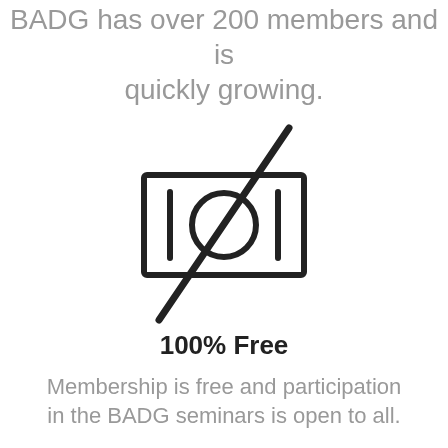BADG has over 200 members and is quickly growing.
[Figure (illustration): A no-cost / free icon: a rectangle (representing a banknote or price tag) with two vertical bars on the sides, a circle with a diagonal slash through it in the center, and a large diagonal line crossing through the entire icon from top-right to bottom-left, indicating 'no money' or 'free'.]
100% Free
Membership is free and participation in the BADG seminars is open to all.